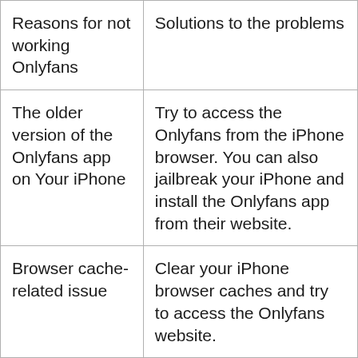| Reasons for not working Onlyfans | Solutions to the problems |
| --- | --- |
| The older version of the Onlyfans app on Your iPhone | Try to access the Onlyfans from the iPhone browser. You can also jailbreak your iPhone and install the Onlyfans app from their website. |
| Browser cache-related issue | Clear your iPhone browser caches and try to access the Onlyfans website. |
| Country restrictions | Try to access the Onlyfans website using a |